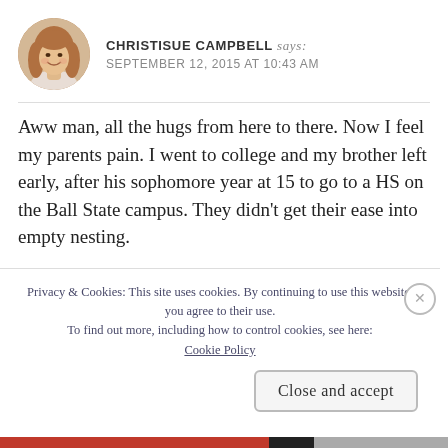[Figure (photo): Circular avatar photo of a woman with long curly reddish-blonde hair, smiling, on a light background]
CHRISTISUE CAMPBELL says: SEPTEMBER 12, 2015 AT 10:43 AM
Aww man, all the hugs from here to there. Now I feel my parents pain. I went to college and my brother left early, after his sophomore year at 15 to go to a HS on the Ball State campus. They didn't get their ease into empty nesting.
Then there's that hard place in your gut when your kid has a harder path than you want for them. Doing that right now. It sooooo hurts. I'm hoping for Chase's
Privacy & Cookies: This site uses cookies. By continuing to use this website, you agree to their use.
To find out more, including how to control cookies, see here: Cookie Policy
Close and accept